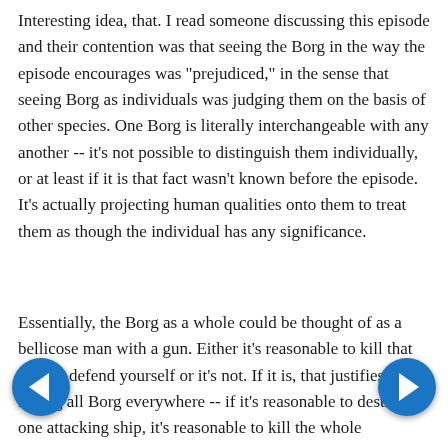Interesting idea, that. I read someone discussing this episode and their contention was that seeing the Borg in the way the episode encourages was "prejudiced," in the sense that seeing Borg as individuals was judging them on the basis of other species. One Borg is literally interchangeable with any another -- it's not possible to distinguish them individually, or at least if it is that fact wasn't known before the episode. It's actually projecting human qualities onto them to treat them as though the individual has any significance.
Essentially, the Borg as a whole could be thought of as a bellicose man with a gun. Either it's reasonable to kill that man to defend yourself or it's not. If it is, that justifies killing all Borg everywhere -- if it's reasonable to destroy one attacking ship, it's reasonable to kill the whole "species." Literally all Borg are as responsible for attacking you as the ones you killed. It's less like killing the individuals who threatened you and more like shooting off the...